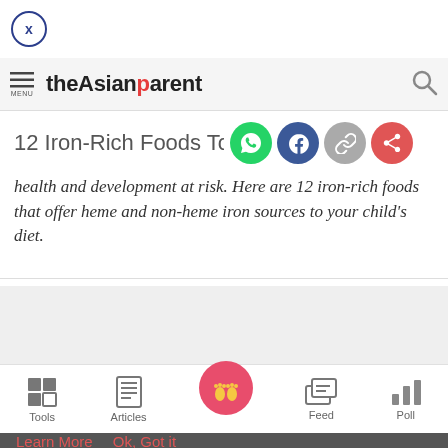[Figure (logo): Close button - circle with X]
theAsianparent
12 Iron-Rich Foods To Boost Your Tod...
health and development at risk. Here are 12 iron-rich foods that offer heme and non-heme iron sources to your child's diet.
[Figure (screenshot): Gray content placeholder area]
Tools  Articles  Feed  Poll
We use cookies to ensure you get the best experience. Learn More  Ok, Got it